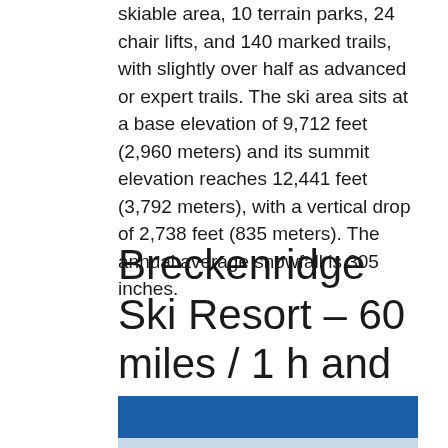skiable area, 10 terrain parks, 24 chair lifts, and 140 marked trails, with slightly over half as advanced or expert trails. The ski area sits at a base elevation of 9,712 feet (2,960 meters) and its summit elevation reaches 12,441 feet (3,792 meters), with a vertical drop of 2,738 feet (835 meters). The annual average snowfall is 305 inches.
Breckenridge Ski Resort – 60 miles / 1 h and 14 min
[Figure (other): Blue banner/header bar followed by light blue section below]